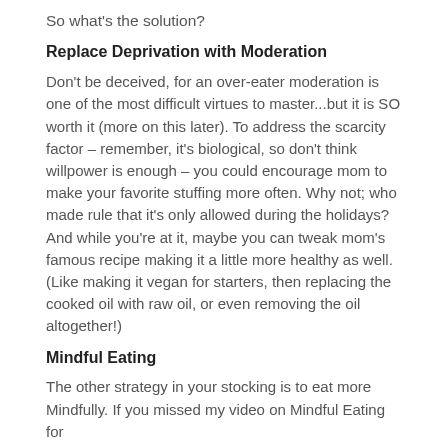So what's the solution?
Replace Deprivation with Moderation
Don't be deceived, for an over-eater moderation is one of the most difficult virtues to master...but it is SO worth it (more on this later). To address the scarcity factor – remember, it's biological, so don't think willpower is enough – you could encourage mom to make your favorite stuffing more often. Why not; who made rule that it's only allowed during the holidays? And while you're at it, maybe you can tweak mom's famous recipe making it a little more healthy as well. (Like making it vegan for starters, then replacing the cooked oil with raw oil, or even removing the oil altogether!)
Mindful Eating
The other strategy in your stocking is to eat more Mindfully. If you missed my video on Mindful Eating for